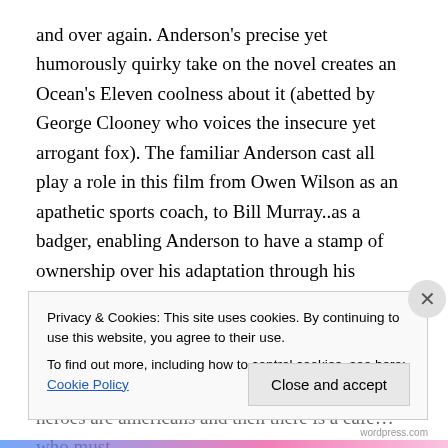and over again. Anderson's precise yet humorously quirky take on the novel creates an Ocean's Eleven coolness about it (abetted by George Clooney who voices the insecure yet arrogant fox). The familiar Anderson cast all play a role in this film from Owen Wilson as an apathetic sports coach, to Bill Murray..as a badger, enabling Anderson to have a stamp of ownership over his adaptation through his casting choice. Furthermore, much a tune to a recent jaguar ad, all of the villains in this film are British, aesthetically displeasing characters; all of the heroes are americans and then there is a cafe… who must
Privacy & Cookies: This site uses cookies. By continuing to use this website, you agree to their use.
To find out more, including how to control cookies, see here: Cookie Policy
Close and accept
wordpress.com